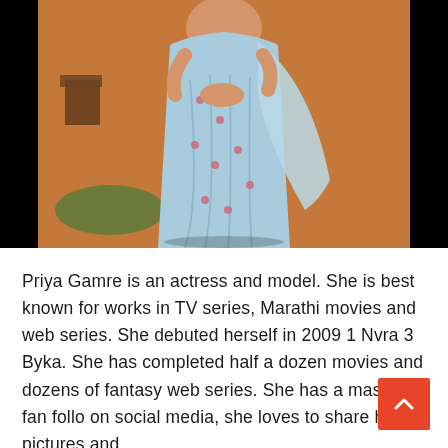[Figure (photo): A woman wearing a light blue floral saree, standing indoors on a wooden floor with a green rug and furniture in the background. The image has black bars on the left and right sides.]
Priya Gamre is an actress and model. She is best known for works in TV series, Marathi movies and web series. She debuted herself in 2009 1 Nvra 3 Byka. She has completed half a dozen movies and dozens of fantasy web series. She has a massive fan follo on social media, she loves to share her pictures and